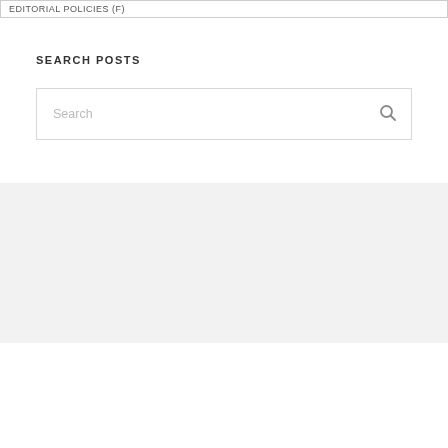EDITORIAL POLICIES (F)
SEARCH POSTS
[Figure (screenshot): Search input box with placeholder text 'Search' and a magnifying glass icon on the right]
ARCHIVES
[Figure (screenshot): Dropdown select box showing 'Select Month' with a chevron/arrow on the right]
META
Log in
Entries feed